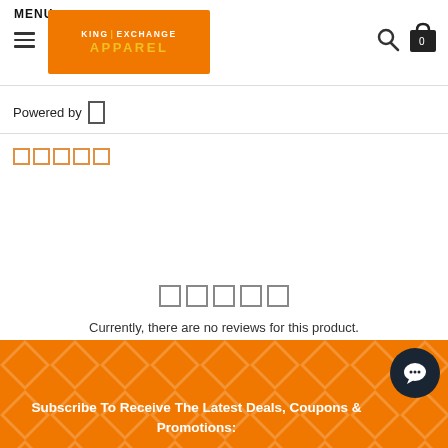MENU
[Figure (logo): King Exchange Apparel logo on orange background]
Powered by
[Figure (other): Five empty star rating icons (small, orange outline)]
[Figure (other): Five empty star rating icons (larger, grey outline)]
Currently, there are no reviews for this product.
Subscribe To Receive The Latest Deals, Coupons & Promotions: